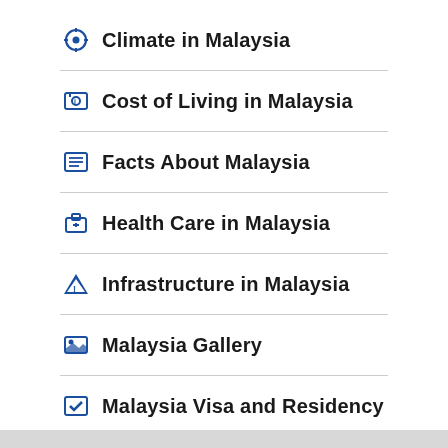Climate in Malaysia
Cost of Living in Malaysia
Facts About Malaysia
Health Care in Malaysia
Infrastructure in Malaysia
Malaysia Gallery
Malaysia Visa and Residency
Map of Malaysia